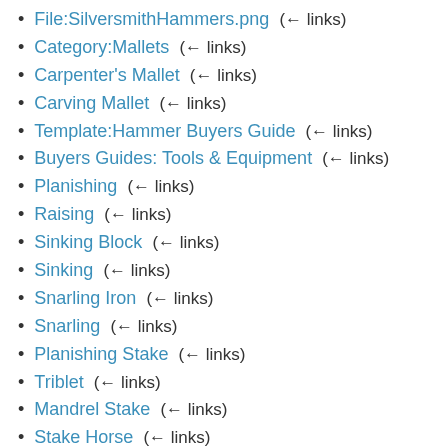File:SilversmithHammers.png  (← links)
Category:Mallets  (← links)
Carpenter's Mallet  (← links)
Carving Mallet  (← links)
Template:Hammer Buyers Guide  (← links)
Buyers Guides: Tools & Equipment  (← links)
Planishing  (← links)
Raising  (← links)
Sinking Block  (← links)
Sinking  (← links)
Snarling Iron  (← links)
Snarling  (← links)
Planishing Stake  (← links)
Triblet  (← links)
Mandrel Stake  (← links)
Stake Horse  (← links)
Bench Socket  (← links)
Raising Stake  (← links)